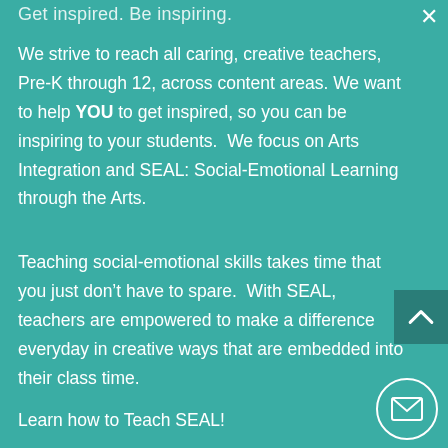Get inspired.  Be inspiring.
We strive to reach all caring, creative teachers, Pre-K through 12, across content areas. We want to help YOU to get inspired, so you can be inspiring to your students.  We focus on Arts Integration and SEAL: Social-Emotional Learning through the Arts.
Teaching social-emotional skills takes time that you just don't have to spare.  With SEAL, teachers are empowered to make a difference everyday in creative ways that are embedded into their class time.
Learn how to Teach SEAL!